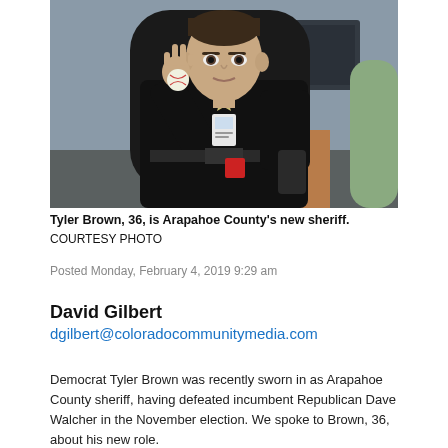[Figure (photo): A man in a black police sheriff uniform sitting in an office chair, holding a baseball and making a peace sign with two fingers. He wears a badge and an ID badge. There are office items visible in the background.]
Tyler Brown, 36, is Arapahoe County's new sheriff.
COURTESY PHOTO
Posted Monday, February 4, 2019 9:29 am
David Gilbert
dgilbert@coloradocommunitymedia.com
Democrat Tyler Brown was recently sworn in as Arapahoe County sheriff, having defeated incumbent Republican Dave Walcher in the November election. We spoke to Brown, 36, about his new role.